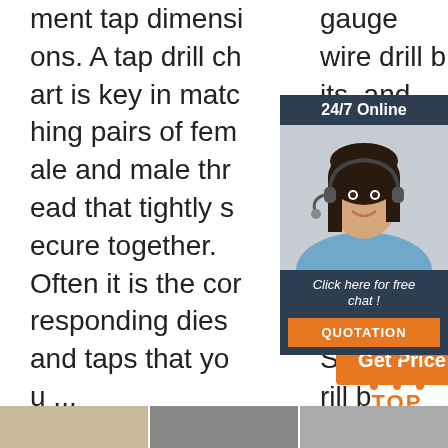ment tap dimensions. A tap drill chart is key in matching pairs of female and male thread that tightly secure together. Often it is the corresponding dies and taps that you ...
gauge wire drill bits, and metric drill bits sorted by size. Sub drill bits below ze f...
[Figure (infographic): Customer service chat widget with '24/7 Online' header, photo of woman with headset, 'Click here for free chat!' text, and orange QUOTATION button]
[Figure (other): Orange 'G' button (Get Quotation) partial]
[Figure (other): Orange 'Get Price' button]
[Figure (other): Orange TOP arrow/icon with dots and 'TOP' text]
[Figure (photo): Bottom row of three partial product images]